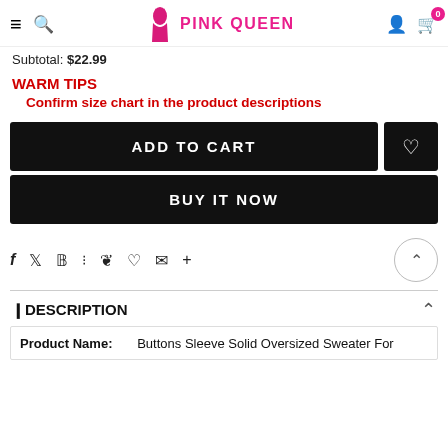PINK QUEEN
Subtotal: $22.99
WARM TIPS🎀 Confirm size chart in the product descriptions
ADD TO CART
BUY IT NOW
Social share icons: f, twitter, pinterest, grid, bookmark, heart, email, +
DESCRIPTION
| Product Name: |  |
| --- | --- |
| Product Name: | Buttons Sleeve Solid Oversized Sweater For |